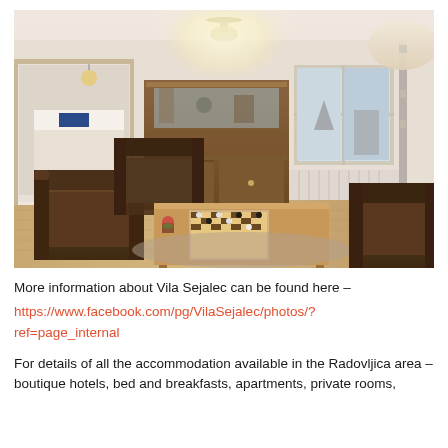[Figure (photo): Interior photo of a cozy living room with dark brown leather armchairs, a wooden coffee table with a chess set, a wooden cabinet/bookcase in the background, a window with natural light, a doorway showing a bedroom with blue pillow, and a floor lamp on the right side. The room has warm wooden flooring.]
More information about Vila Sejalec can be found here – https://www.facebook.com/pg/VilaSejalec/photos/?ref=page_internal
For details of all the accommodation available in the Radovljica area – boutique hotels, bed and breakfasts, apartments, private rooms,